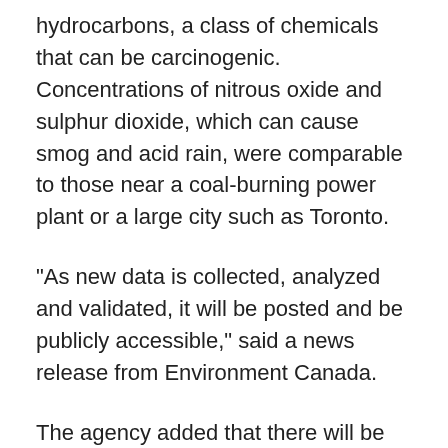hydrocarbons, a class of chemicals that can be carcinogenic. Concentrations of nitrous oxide and sulphur dioxide, which can cause smog and acid rain, were comparable to those near a coal-burning power plant or a large city such as Toronto.
"As new data is collected, analyzed and validated, it will be posted and be publicly accessible," said a news release from Environment Canada.
The agency added that there will be more data as the plan gets closer to full implementation, slated for 2015.
Additional, complementary data is also available on another website, the Alberta's Oil Sands Information Portal.